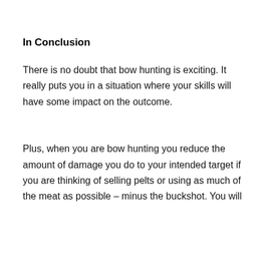In Conclusion
There is no doubt that bow hunting is exciting. It really puts you in a situation where your skills will have some impact on the outcome.
Plus, when you are bow hunting you reduce the amount of damage you do to your intended target if you are thinking of selling pelts or using as much of the meat as possible – minus the buckshot. You will